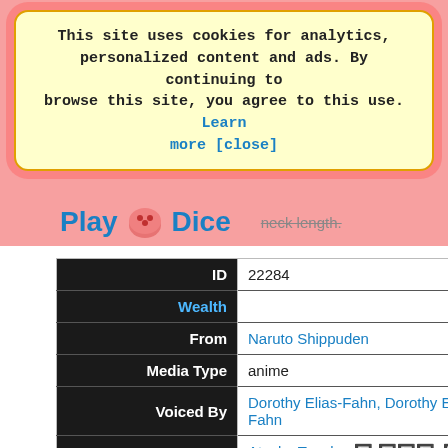This site uses cookies for analytics, personalized content and ads. By continuing to browse this site, you agree to this use. Learn more [close]
Play Dice neck length.
|  |  |
| --- | --- |
| ID | 22284 |
| Wealth |  |
| From | Naruto Shippuden |
| Media Type | anime |
| Voiced By | Dorothy Elias-Fahn, Dorothy Elias, Dorothy Fahn |
| Voiced By | Atsuko Tanaka, 田中 敦子, 田中 敦子 田中 敦子 |
| Appears As | Of dif |
| --- | --- |
| Gender | Female |
| Eye Color | Orange |
| Hair Color | Blue |
| Hair Length | To Neck |
| Apparent Age | Adult |